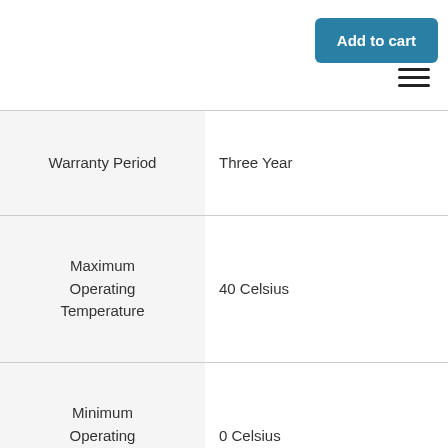| Warranty Period | Three Year |
| Maximum Operating Temperature | 40 Celsius |
| Minimum Operating Temperature | 0 Celsius |
| Maximum Relative | 95% |